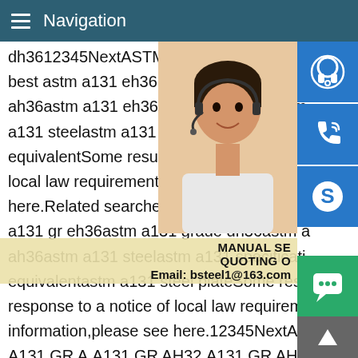Navigation
dh3612345NextASTM A131 AH36 steel pl best astm a131 eh36 suppliers exportastm ah36astm a131 eh36 steel propertiesastm a131 steelastm a131 steel plateastm a131 equivalentSome results are removed in response to a notice of local law requirement.For more information please see here.Related searches for astm a131 grade a131 gr eh36astm a131 grade dh36astm ah36astm a131 steelastm a131 specification equivalentastm a131 steel plateSome results are removed in response to a notice of local law requirement.For more information,please see here.12345NextASTM A131 - SSABGrades A131 GR A,A131 GR AH32,A131 GR AH36,A131 GR B,A131 GR D,A131 GR DH32,A131 GR DH36,A131 GR E,A131 GR EH36.180.This website uses cookies to enhance your experience.By continuing to use this website you are agreeing
[Figure (photo): Woman with headset smiling, customer service representative]
[Figure (infographic): Three blue icon buttons: headset/support, phone, Skype]
MANUAL SE... QUOTING O... Email: bsteel1@163.com